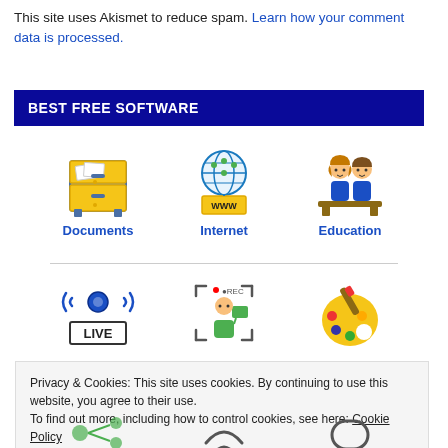This site uses Akismet to reduce spam. Learn how your comment data is processed.
BEST FREE SOFTWARE
[Figure (illustration): Three category icons: Documents (filing cabinet), Internet (globe with WWW), Education (two students at desk)]
[Figure (illustration): Three category icons: Audio (microphone with LIVE), Video (person being recorded), Graphics (artist palette)]
Privacy & Cookies: This site uses cookies. By continuing to use this website, you agree to their use. To find out more, including how to control cookies, see here: Cookie Policy
[Figure (illustration): Partial bottom row icons partially visible: networking/sharing, cable, and bracket icons]